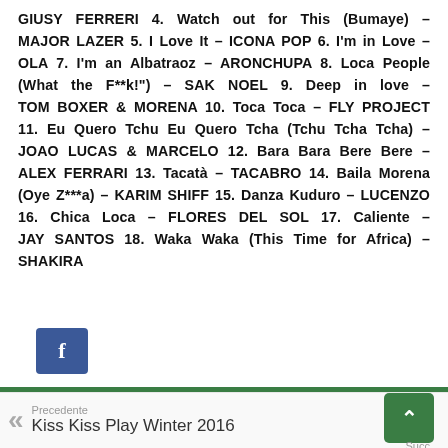GIUSY FERRERI 4. Watch out for This (Bumaye) – MAJOR LAZER 5. I Love It – ICONA POP 6. I'm in Love – OLA 7. I'm an Albatraoz – ARONCHUPA 8. Loca People (What the F**k!") – SAK NOEL 9. Deep in love – TOM BOXER & MORENA 10. Toca Toca – FLY PROJECT 11. Eu Quero Tchu Eu Quero Tcha (Tchu Tcha Tcha) – JOAO LUCAS & MARCELO 12. Bara Bara Bere Bere – ALEX FERRARI 13. Tacatà – TACABRO 14. Baila Morena (Oye Z***a) – KARIM SHIFF 15. Danza Kuduro – LUCENZO 16. Chica Loca – FLORES DEL SOL 17. Caliente – JAY SANTOS 18. Waka Waka (This Time for Africa) – SHAKIRA
[Figure (other): Facebook share button (blue square with white 'f' logo)]
Precedente
Kiss Kiss Play Winter 2016
Succ...
Hannyfanie Dancehall Party...